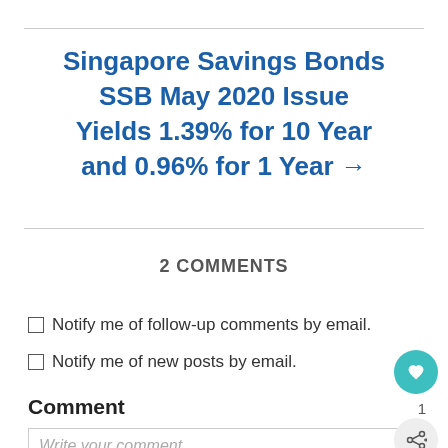Singapore Savings Bonds SSB May 2020 Issue Yields 1.39% for 10 Year and 0.96% for 1 Year →
2 COMMENTS
Notify me of follow-up comments by email.
Notify me of new posts by email.
Comment
Write your comment